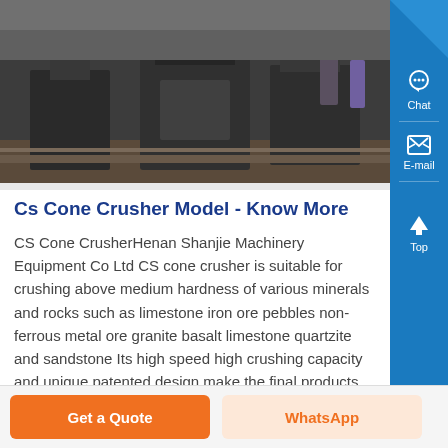[Figure (photo): Industrial machinery / cone crusher equipment in a factory setting, dark tones]
Cs Cone Crusher Model - Know More
CS Cone CrusherHenan Shanjie Machinery Equipment Co Ltd CS cone crusher is suitable for crushing above medium hardness of various minerals and rocks such as limestone iron ore pebbles non-ferrous metal ore granite basalt limestone quartzite and sandstone Its high speed high crushing capacity and unique patented design make the final products with a very high quality cube type and the
Get a Quote
WhatsApp